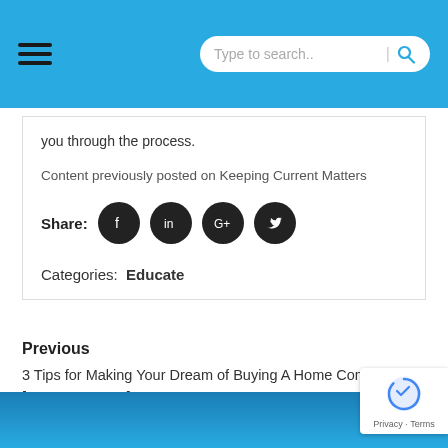Type to search..
you through the process.
Content previously posted on Keeping Current Matters
Share:
Categories:  Educate
Previous
3 Tips for Making Your Dream of Buying A Home Come True [INFOGRAPHIC]
Next What are the Benefits of Becoming a Homeowner?